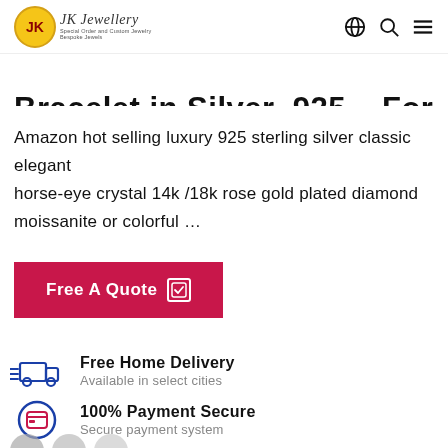[Figure (logo): JK Jewellery logo with golden circular emblem and script text]
Bracelet in Silver .925 – For less
Amazon hot selling luxury 925 sterling silver classic elegant horse-eye crystal 14k /18k rose gold plated diamond moissanite or colorful ...
Free A Quote
Free Home Delivery
Available in select cities
100% Payment Secure
Secure payment system